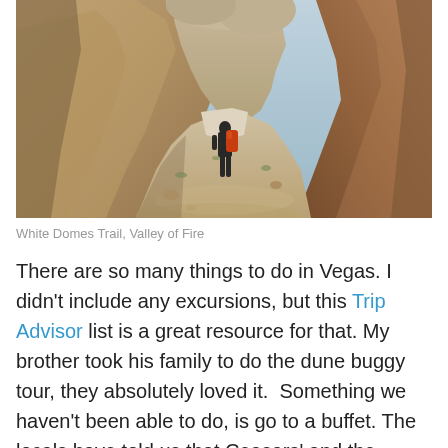[Figure (photo): A hiker with a red backpack walking through a narrow rocky canyon at White Domes Trail, Valley of Fire. Tall sandstone rock walls on either side, sandy canyon floor.]
White Domes Trail, Valley of Fire
There are so many things to do in Vegas. I didn't include any excursions, but this Trip Advisor list is a great resource for that. My brother took his family to do the dune buggy tour, they absolutely loved it.  Something we haven't been able to do, is go to a buffet. The locals have told us that Ceasars' and the Cosmopolitan have the best